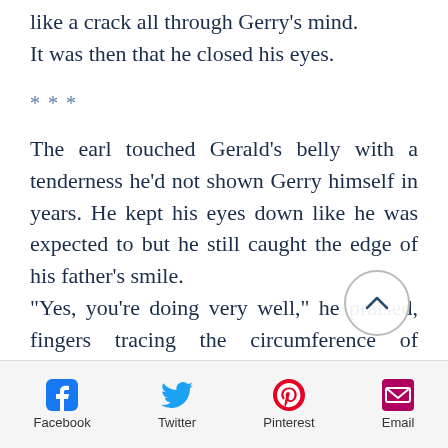like a crack all through Gerry's mind. It was then that he closed his eyes.
***
The earl touched Gerald's belly with a tenderness he'd not shown Gerry himself in years. He kept his eyes down like he was expected to but he still caught the edge of his father's smile. “Yes, you’re doing very well,” he praised, fingers tracing the circumference of Gerald’s stomach with possessive delight. “Chances are there will be at least three boys and then I’ll make sure I do better with them than I did with you, Gerald.”
Facebook  Twitter  Pinterest  Email